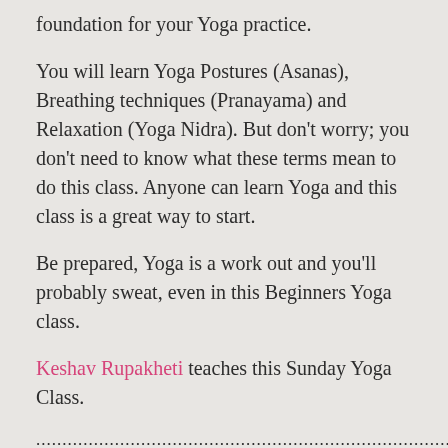foundation for your Yoga practice.
You will learn Yoga Postures (Asanas), Breathing techniques (Pranayama) and Relaxation (Yoga Nidra). But don't worry; you don't need to know what these terms mean to do this class. Anyone can learn Yoga and this class is a great way to start.
Be prepared, Yoga is a work out and you'll probably sweat, even in this Beginners Yoga class.
Keshav Rupakheti teaches this Sunday Yoga Class.
...............................................................................
If you are unsure which class is for you, feel free to chat to Keshav or Jennifer, they will find the